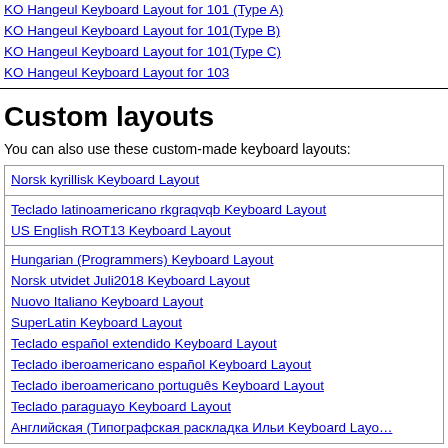KO Hangeul Keyboard Layout for 101 (Type A)
KO Hangeul Keyboard Layout for 101(Type B)
KO Hangeul Keyboard Layout for 101(Type C)
KO Hangeul Keyboard Layout for 103
Custom layouts
You can also use these custom-made keyboard layouts:
Norsk kyrillisk Keyboard Layout
Teclado latinoamericano rkgraqvqb Keyboard Layout
US English ROT13 Keyboard Layout
Hungarian (Programmers) Keyboard Layout
Norsk utvidet Juli2018 Keyboard Layout
Nuovo Italiano Keyboard Layout
SuperLatin Keyboard Layout
Teclado español extendido Keyboard Layout
Teclado iberoamericano español Keyboard Layout
Teclado iberoamericano português Keyboard Layout
Teclado paraguayo Keyboard Layout
Английская (Типографская раскладка Ильи Keyboard Layo…
Note that virtual keys are not always at the same place. For ex…